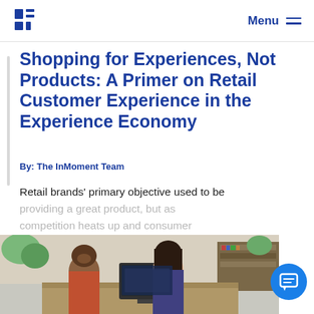Menu
Shopping for Experiences, Not Products: A Primer on Retail Customer Experience in the Experience Economy
By: The InMoment Team
Retail brands' primary objective used to be providing a great product, but as competition heats up and consumer expectations rise...
[Figure (photo): Two women working together at a computer in an office setting]